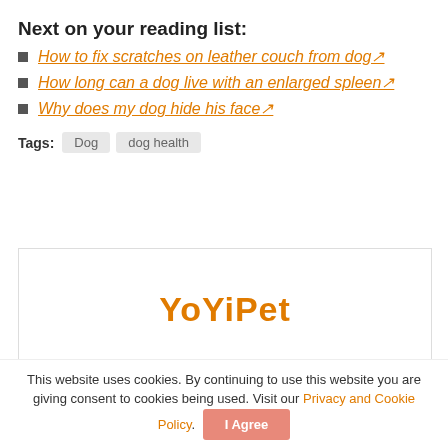Next on your reading list:
How to fix scratches on leather couch from dog🔗
How long can a dog live with an enlarged spleen🔗
Why does my dog hide his face🔗
Tags: Dog   dog health
[Figure (logo): YoYiPet logo in orange/gold text]
This website uses cookies. By continuing to use this website you are giving consent to cookies being used. Visit our Privacy and Cookie Policy. I Agree